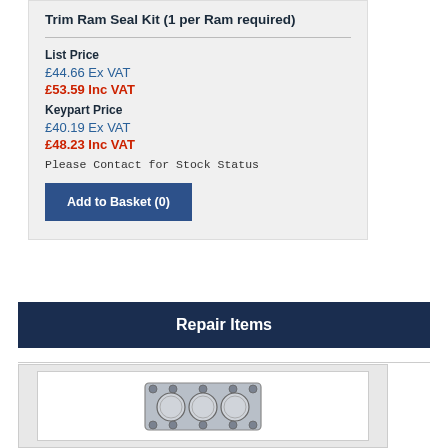Trim Ram Seal Kit (1 per Ram required)
List Price
£44.66 Ex VAT
£53.59 Inc VAT
Keypart Price
£40.19 Ex VAT
£48.23 Inc VAT
Please Contact for Stock Status
Add to Basket (0)
Repair Items
[Figure (photo): Cylinder head gasket with multiple circular bore openings, metallic/grey colored gasket component viewed from above]